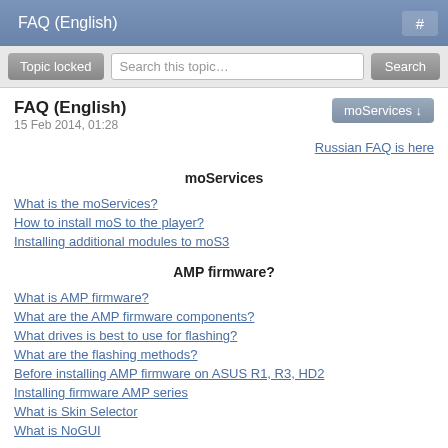FAQ (English)  #
Topic locked  Search this topic…  Search
FAQ (English)
15 Feb 2014, 01:28
moServices ↓
Russian FAQ is here
moServices
What is the moServices?
How to install moS to the player?
Installing additional modules to moS3
AMP firmware?
What is AMP firmware?
What are the AMP firmware components?
What drives is best to use for flashing?
What are the flashing methods?
Before installing AMP firmware on ASUS R1, R3, HD2
Installing firmware AMP series
What is Skin Selector
What is NoGUI
Related issues